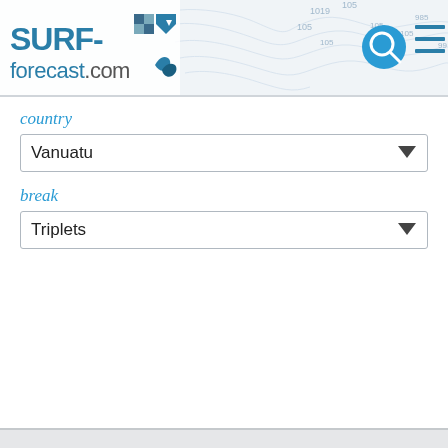[Figure (screenshot): surf-forecast.com website header with logo, topographic map background, search icon, and hamburger menu icon]
country
Vanuatu
break
Triplets